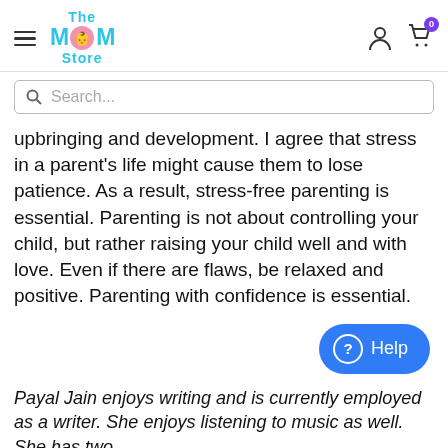The MOM Store — navigation bar with hamburger menu, logo, user icon, and cart icon (0 items)
Search...
upbringing and development. I agree that stress in a parent’s life might cause them to lose patience. As a result, stress-free parenting is essential. Parenting is not about controlling your child, but rather raising your child well and with love. Even if there are flaws, be relaxed and positive. Parenting with confidence is essential.
[Figure (other): Help button — rounded blue pill-shaped button with question mark circle icon and the word 'Help']
Payal Jain enjoys writing and is currently employed as a writer. She enjoys listening to music as well. She has two